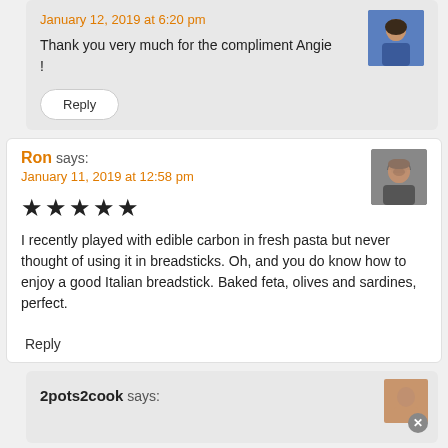January 12, 2019 at 6:20 pm
Thank you very much for the compliment Angie !
Reply
Ron says:
January 11, 2019 at 12:58 pm
★★★★★
I recently played with edible carbon in fresh pasta but never thought of using it in breadsticks. Oh, and you do know how to enjoy a good Italian breadstick. Baked feta, olives and sardines, perfect.
Reply
2pots2cook says: